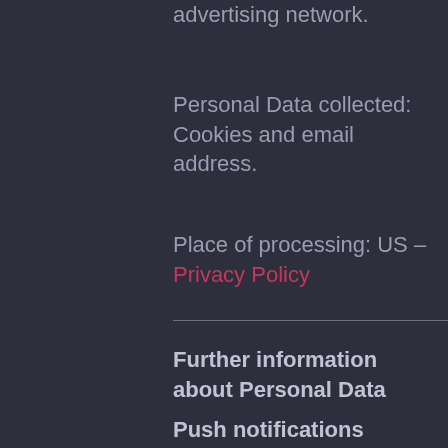advertising network.
Personal Data collected: Cookies and email address.
Place of processing: US – Privacy Policy
Further information about Personal Data
Push notifications
This Application may